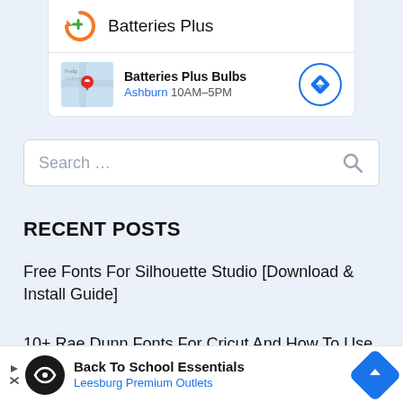[Figure (screenshot): Batteries Plus brand logo card with orange circular arrow icon and green plus sign, showing store name 'Batteries Plus']
[Figure (screenshot): Batteries Plus Bulbs location entry showing map thumbnail with red pin, location name 'Batteries Plus Bulbs', city 'Ashburn' in blue, hours '10AM-5PM', and a blue circular directions button]
[Figure (screenshot): Search input bar with placeholder text 'Search ...' and a search icon on the right]
RECENT POSTS
Free Fonts For Silhouette Studio [Download & Install Guide]
10+ Rae Dunn Fonts For Cricut And How To Use Them
Silhouette Cameo 4 Review: Is It Worth It?!
[Figure (screenshot): Bottom ad banner for 'Back To School Essentials' at 'Leesburg Premium Outlets' with a dark circular logo, play/close icons, and a blue diamond-shaped directions button]